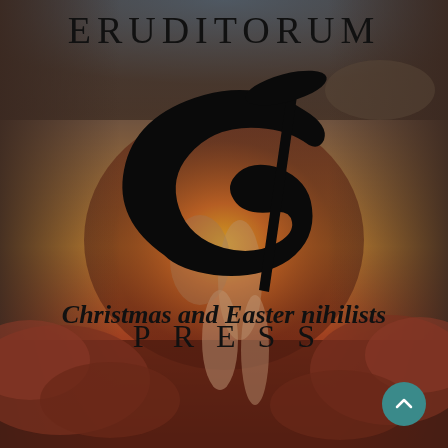[Figure (illustration): Dark reddish-brown painted illustration of a muscular figure crouching or falling, with dramatic swirling cloud-like forms around, reminiscent of William Blake artwork. Background shifts from dark grey-green at top to warm reds and yellows in the center.]
ERUDITORUM
[Figure (logo): Eruditorum Press stylized EP logo in black — a large italic cursive E with a serif P overlapping, forming a monogram]
PRESS
Christmas and Easter nihilists